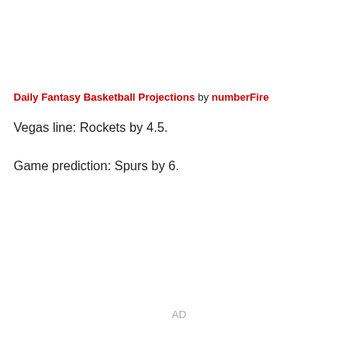Daily Fantasy Basketball Projections by numberFire
Vegas line: Rockets by 4.5.
Game prediction: Spurs by 6.
AD